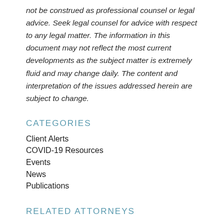not be construed as professional counsel or legal advice. Seek legal counsel for advice with respect to any legal matter. The information in this document may not reflect the most current developments as the subject matter is extremely fluid and may change daily. The content and interpretation of the issues addressed herein are subject to change.
CATEGORIES
Client Alerts
COVID-19 Resources
Events
News
Publications
RELATED ATTORNEYS